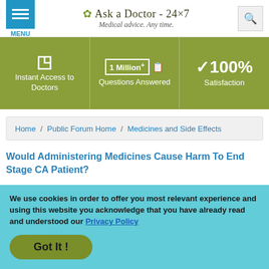Ask a Doctor - 24x7 | Medical advice. Any time.
[Figure (infographic): Green banner with three columns: Instant Access to Doctors (24h icon), 1 Million+ Questions Answered, 100% Satisfaction]
Home / Public Forum Home / Medicines and Side Effects
Would Administering Medicines Cause Harm To End Stage CA Patient?
i m a nurse and i was taking care of a pt. with a large pleural effusion bilateral end stage ca being the cause. the md did made the pt. npo except for meds but the nurse before me advised that i
We use cookies in order to offer you most relevant experience and using this website you acknowledge that you have already read and understood our Privacy Policy
Got It !